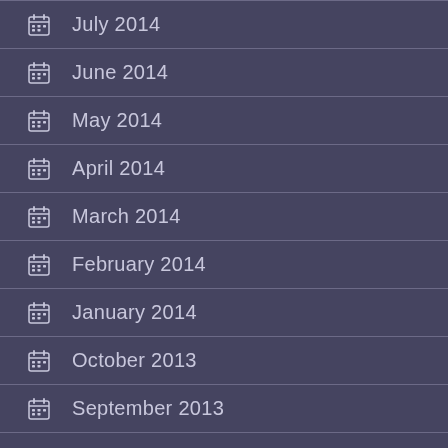July 2014
June 2014
May 2014
April 2014
March 2014
February 2014
January 2014
October 2013
September 2013